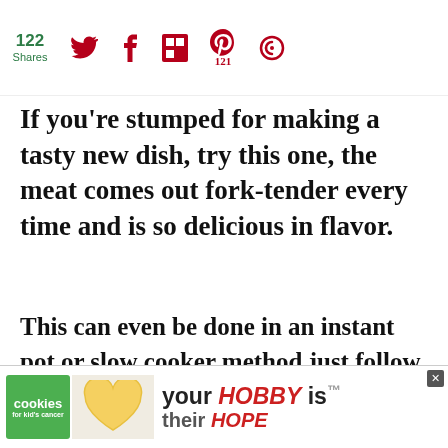122 Shares | Social share icons (Twitter, Facebook, Flipboard, Pinterest 121, feed)
If you're stumped for making a tasty new dish, try this one, the meat comes out fork-tender every time and is so delicious in flavor.
This can even be done in an instant pot or slow cooker method just follow the recipe card directions below.
[Figure (screenshot): Pork Sazon recipe page with photo strip showing pork dishes and WHAT'S NEXT - Easy Pork Wellington teaser]
[Figure (photo): Advertisement banner: cookies for kid's cancer - your HOBBY is their HOPE]